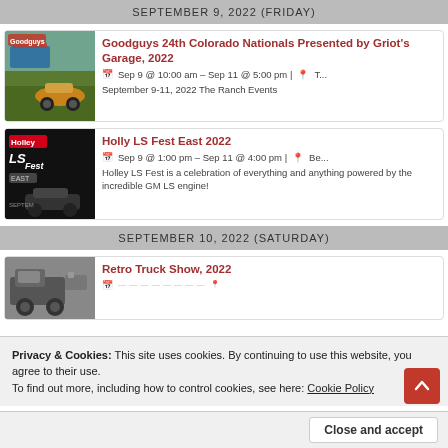SEPTEMBER 9, 2022 (FRIDAY)
[Figure (photo): Goodguys car show photo with vintage cars on green field]
Goodguys 24th Colorado Nationals Presented by Griot's Garage, 2022
Sep 9 @ 10:00 am – Sep 11 @ 5:00 pm | T...
September 9-11, 2022 The Ranch Events
[Figure (photo): Holley LS Fest East event logo and racing car on dark background]
Holly LS Fest East 2022
Sep 9 @ 1:00 pm – Sep 11 @ 4:00 pm | Be...
Holley LS Fest is a celebration of everything and anything powered by the incredible GM LS engine!
SEPTEMBER 10, 2022 (SATURDAY)
[Figure (photo): Retro truck show photo]
Retro Truck Show, 2022
Privacy & Cookies: This site uses cookies. By continuing to use this website, you agree to their use.
To find out more, including how to control cookies, see here: Cookie Policy
a fund-raiser event for the Ancient Order of